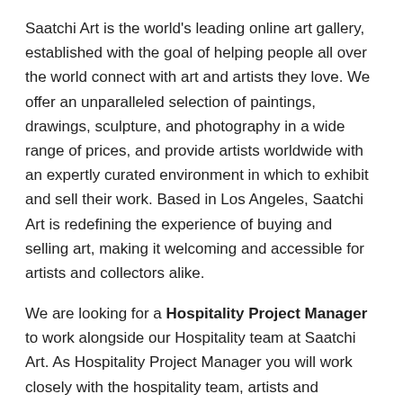Saatchi Art is the world's leading online art gallery, established with the goal of helping people all over the world connect with art and artists they love. We offer an unparalleled selection of paintings, drawings, sculpture, and photography in a wide range of prices, and provide artists worldwide with an expertly curated environment in which to exhibit and sell their work. Based in Los Angeles, Saatchi Art is redefining the experience of buying and selling art, making it welcoming and accessible for artists and collectors alike.
We are looking for a Hospitality Project Manager to work alongside our Hospitality team at Saatchi Art. As Hospitality Project Manager you will work closely with the hospitality team, artists and suppliers, and you will project manage approved artworks through specification, quoting, sourcing, procurement and production. You will create deal sheets, write specs, and work closely with vendors.
A big vision calls for a big job. As we grow, our need for a Hospitality Project Manager grows with us.